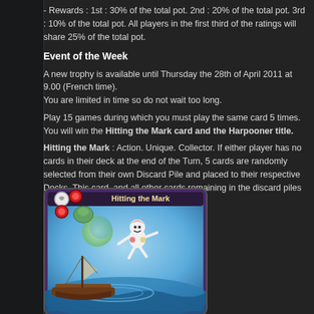- Rewards : 1st : 30% of the total pot. 2nd : 20% of the total pot. 3rd : 10% of the total pot. All players in the first third of the ratings will share 25% of the total pot.
Event of the Week
A new trophy is available until Thursday the 28th of April 2011 at 9.00 (French time).
You are limited in time so do not wait too long.
Play 15 games during which you must play the same card 5 times. You will win the Hitting the Mark card and the Harpooner title.
Hitting the Mark : Action. Unique. Collector. If either player has no cards in their deck at the end of the Turn, 5 cards are randomly selected from their own Discard Pile and placed to their respective Decks. This card, and all other cards remaining in the discard piles are removed from the game. Permanent.
[Figure (illustration): A trading card game card titled 'Hitting the Mark' showing a fantasy character leaping above a sailing ship in a swirling blue sea/sky background, with colored symbol icons in the corners.]